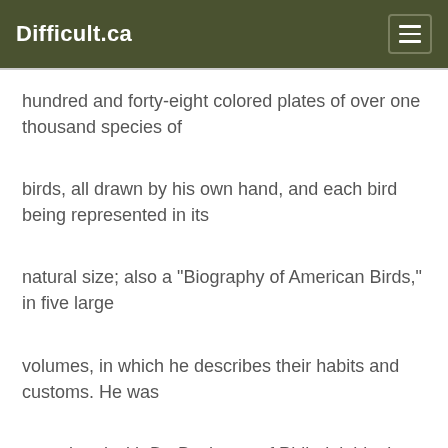Difficult.ca
hundred and forty-eight colored plates of over one thousand species of
birds, all drawn by his own hand, and each bird being represented in its
natural size; also a "Biography of American Birds," in five large
volumes, in which he describes their habits and customs. He was
associated with Dr. Bachman of Philadelphia, in the preparation of a
work on "The Quadrupeds of America," in six large volumes, the drawings